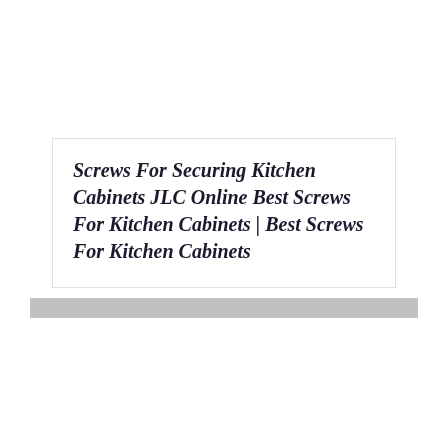Screws For Securing Kitchen Cabinets JLC Online Best Screws For Kitchen Cabinets | Best Screws For Kitchen Cabinets